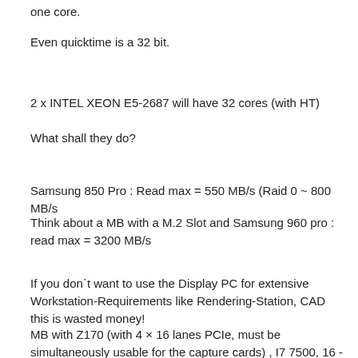one core.
Even quicktime is a 32 bit.
2 x INTEL XEON E5-2687 will have 32 cores (with HT)
What shall they do?
Samsung 850 Pro : Read max = 550 MB/s (Raid 0 ~ 800 MB/s
Think about a MB with a M.2 Slot and Samsung 960 pro : read max = 3200 MB/s
If you don´t want to use the Display PC for extensive Workstation-Requirements like Rendering-Station, CAD this is wasted money!
MB with Z170 (with 4 × 16 lanes PCIe, must be simultaneously usable for the capture cards) , I7 7500, 16 - 32 Gb and Samsung